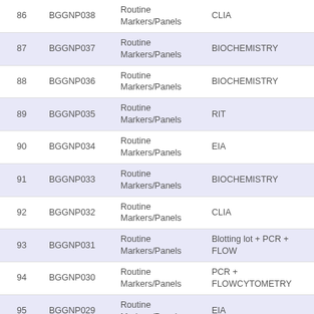| # | Code | Category | Method |
| --- | --- | --- | --- |
| 86 | BGGNP038 | Routine Markers/Panels | CLIA |
| 87 | BGGNP037 | Routine Markers/Panels | BIOCHEMISTRY |
| 88 | BGGNP036 | Routine Markers/Panels | BIOCHEMISTRY |
| 89 | BGGNP035 | Routine Markers/Panels | RIT |
| 90 | BGGNP034 | Routine Markers/Panels | EIA |
| 91 | BGGNP033 | Routine Markers/Panels | BIOCHEMISTRY |
| 92 | BGGNP032 | Routine Markers/Panels | CLIA |
| 93 | BGGNP031 | Routine Markers/Panels | Blotting lot + PCR + FLOW |
| 94 | BGGNP030 | Routine Markers/Panels | PCR + FLOWCYTOMETRY |
| 95 | BGGNP029 | Routine Markers/Panels | EIA |
| 96 | BGGNP028 | Routine Markers/Panels | CAOGULATION |